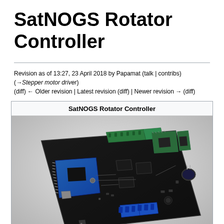SatNOGS Rotator Controller
Revision as of 13:27, 23 April 2018 by Papamat (talk | contribs)
(→Stepper motor driver)
(diff) ← Older revision | Latest revision (diff) | Newer revision → (diff)
SatNOGS Rotator Controller
[Figure (photo): Photo of the SatNOGS Rotator Controller PCB board, a black circuit board with blue Arduino module, green stepper motor driver modules, and various connectors and components, photographed at an angle on a white background.]